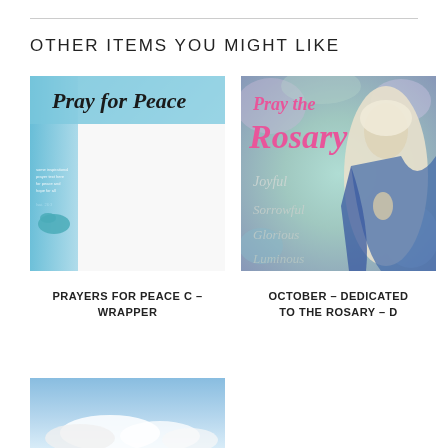OTHER ITEMS YOU MIGHT LIKE
[Figure (photo): Pray for Peace decorative wrapper with blue dove and script text]
[Figure (photo): Pray the Rosary image with statue of Virgin Mary and mystery names: Joyful, Sorrowful, Glorious, Luminous]
PRAYERS FOR PEACE C – WRAPPER
OCTOBER – DEDICATED TO THE ROSARY – D
[Figure (photo): Partial image of a sky with clouds, third product item cut off at bottom]